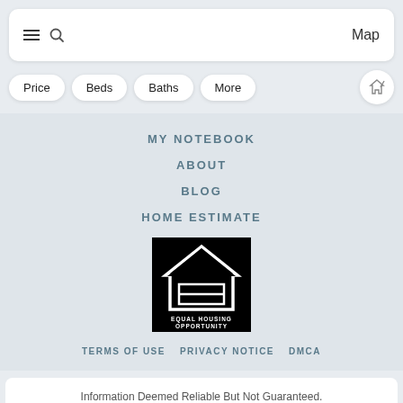Map
Price
Beds
Baths
More
MY NOTEBOOK
ABOUT
BLOG
HOME ESTIMATE
[Figure (logo): Equal Housing Opportunity logo — black background with white house icon and text 'EQUAL HOUSING OPPORTUNITY']
TERMS OF USE   PRIVACY NOTICE   DMCA
Information Deemed Reliable But Not Guaranteed.
This site powered by CINC: www.cincpro.com